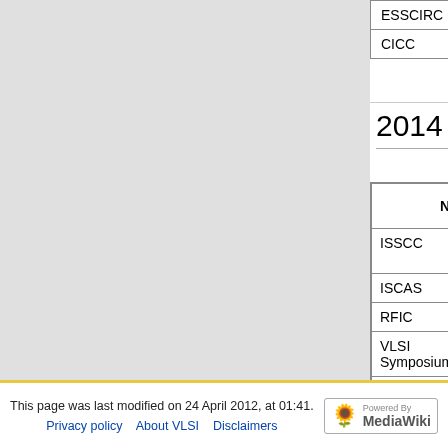| Name | Dates Held | City | Conference Hotel | Subm. Deadline |
| --- | --- | --- | --- | --- |
| ESSCIRC | Sept. | TBD | TBD | T |
| CICC | Sept. | TBD | TBD | T |
2014 IEEE Conferences
| Name | Dates Held | City | Conference Hotel | Subm. Deadline |
| --- | --- | --- | --- | --- |
| ISSCC | Feb. | San Francisco, CA | San Francisco Marriott Marquis | T |
| ISCAS | May | TBD | TBD | T |
| RFIC | June | TBD | TBD | T |
| VLSI Symposium | June | TBD | TBD | T |
| ESSCIRC | Sept. | TBD | TBD | T |
| CICC | Sept. | TBD | TBD | T |
This page was last modified on 24 April 2012, at 01:41. Privacy policy  About VLSI  Disclaimers